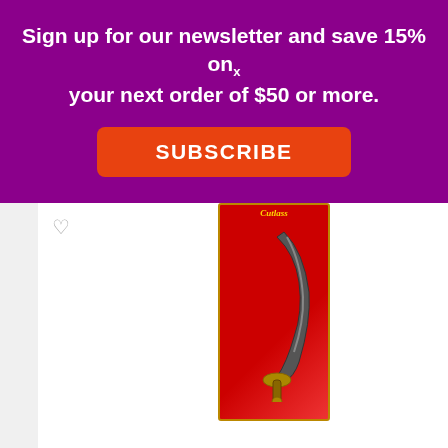Sign up for our newsletter and save 15% on your next order of $50 or more.
SUBSCRIBE
[Figure (photo): Pirate cutlass toy product in red packaging with gold border]
Pirate Cutlass
Add to Wishlist
SKU# 59011-15
$3.00